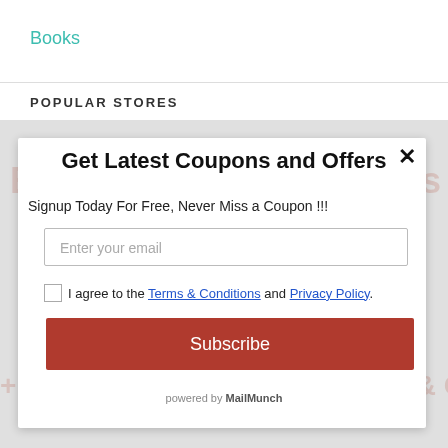Books
POPULAR STORES
Get Latest Coupons and Offers
Signup Today For Free, Never Miss a Coupon !!!
Enter your email
I agree to the Terms & Conditions and Privacy Policy.
Subscribe
powered by MailMunch